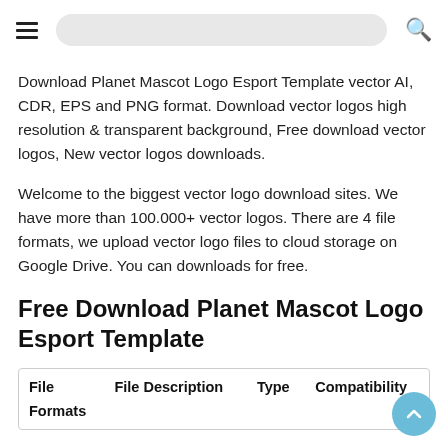Navigation header with hamburger menu, search bar, and search icon
Download Planet Mascot Logo Esport Template vector AI, CDR, EPS and PNG format. Download vector logos high resolution & transparent background, Free download vector logos, New vector logos downloads.
Welcome to the biggest vector logo download sites. We have more than 100.000+ vector logos. There are 4 file formats, we upload vector logo files to cloud storage on Google Drive. You can downloads for free.
Free Download Planet Mascot Logo Esport Template
| File Formats | File Description | Type | Compatibility |
| --- | --- | --- | --- |